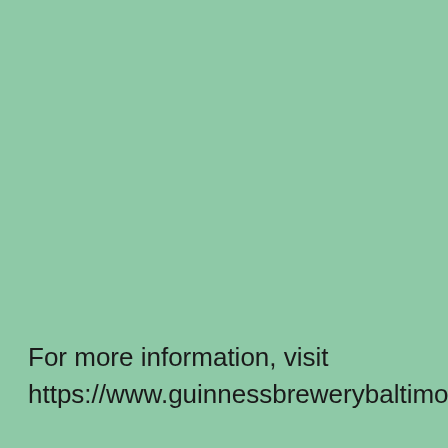For more information, visit https://www.guinnessbrewerybaltimore.com/